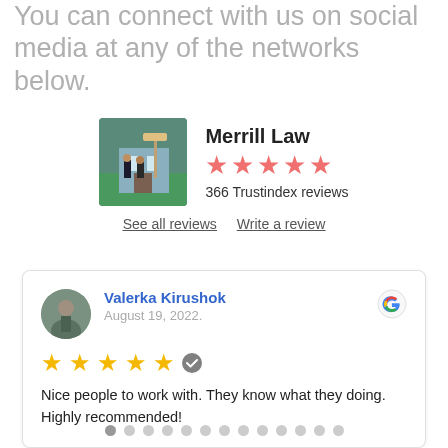You can connect with us on social media at any of the networks below.
[Figure (photo): Merrill Law office photo with two people standing outside near a sign]
Merrill Law
[Figure (other): Five pink/salmon star rating icons]
366 Trustindex reviews
See all reviews   Write a review
[Figure (photo): Reviewer avatar photo of Valerka Kirushok]
Valerka Kirushok
August 19, 2022.
[Figure (logo): Google G logo in top right of review card]
[Figure (other): Five yellow star rating with verified checkmark icon]
Nice people to work with. They know what they doing. Highly recommended!